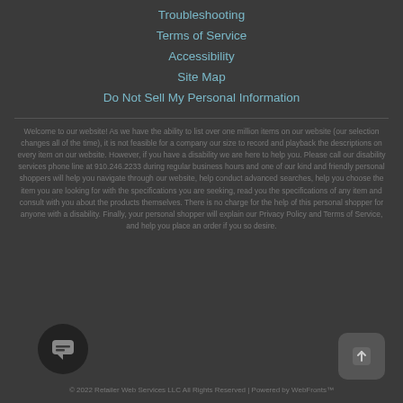Troubleshooting
Terms of Service
Accessibility
Site Map
Do Not Sell My Personal Information
Welcome to our website! As we have the ability to list over one million items on our website (our selection changes all of the time), it is not feasible for a company our size to record and playback the descriptions on every item on our website. However, if you have a disability we are here to help you. Please call our disability services phone line at 910.246.2233 during regular business hours and one of our kind and friendly personal shoppers will help you navigate through our website, help conduct advanced searches, help you choose the item you are looking for with the specifications you are seeking, read you the specifications of any item and consult with you about the products themselves. There is no charge for the help of this personal shopper for anyone with a disability. Finally, your personal shopper will explain our Privacy Policy and Terms of Service, and help you place an order if you so desire.
© 2022 Retailer Web Services LLC All Rights Reserved | Powered by WebFronts™